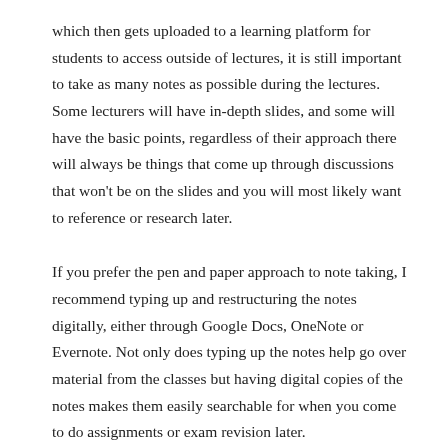which then gets uploaded to a learning platform for students to access outside of lectures, it is still important to take as many notes as possible during the lectures. Some lecturers will have in-depth slides, and some will have the basic points, regardless of their approach there will always be things that come up through discussions that won't be on the slides and you will most likely want to reference or research later.
If you prefer the pen and paper approach to note taking, I recommend typing up and restructuring the notes digitally, either through Google Docs, OneNote or Evernote. Not only does typing up the notes help go over material from the classes but having digital copies of the notes makes them easily searchable for when you come to do assignments or exam revision later.